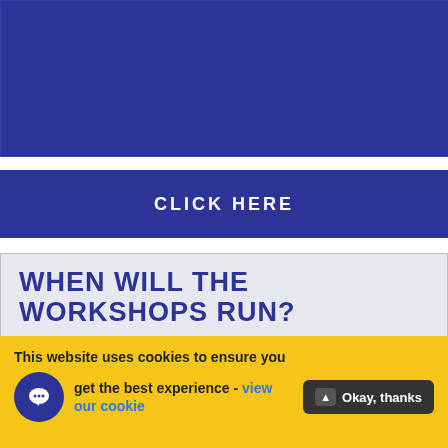[Figure (other): Dark blue/navy banner image at the top of the page]
CLICK HERE
WHEN WILL THE WORKSHOPS RUN?
We are planning to run 6 fun and interactive workshops in the Easter holidays.
WHERE WILL THE WORKSHOPS TAKE PLACE?
This website uses cookies to ensure you get the best experience - view our cookie